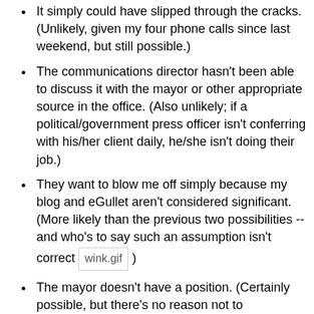It simply could have slipped through the cracks. (Unlikely, given my four phone calls since last weekend, but still possible.)
The communications director hasn't been able to discuss it with the mayor or other appropriate source in the office. (Also unlikely; if a political/government press officer isn't conferring with his/her client daily, he/she isn't doing their job.)
They want to blow me off simply because my blog and eGullet aren't considered significant. (More likely than the previous two possibilities -- and who's to say such an assumption isn't correct [wink.gif] )
The mayor doesn't have a position. (Certainly possible, but there's no reason not to communicate that. If he wanted to hedge, the mayor's spokesperson could simply say: "As